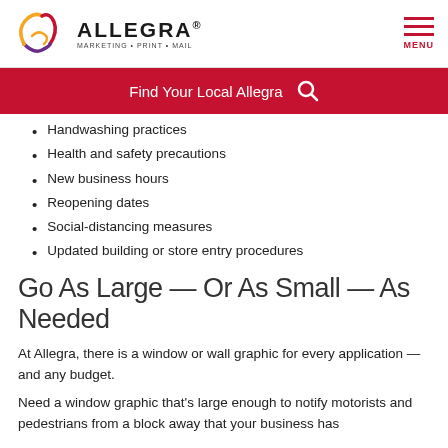ALLEGRA MARKETING • PRINT • MAIL | MENU
[Figure (logo): Allegra Marketing Print Mail logo with stylized A in orange/red/purple gradient]
Find Your Local Allegra 🔍
Handwashing practices
Health and safety precautions
New business hours
Reopening dates
Social-distancing measures
Updated building or store entry procedures
Go As Large — Or As Small — As Needed
At Allegra, there is a window or wall graphic for every application — and any budget.
Need a window graphic that's large enough to notify motorists and pedestrians from a block away that your business has